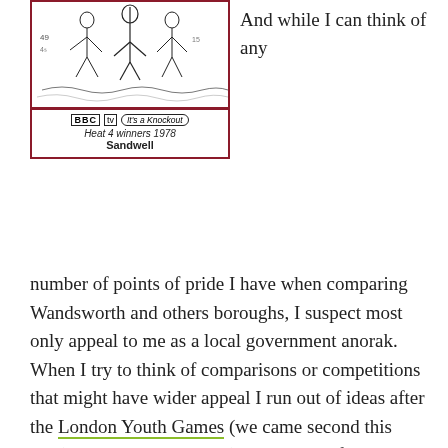[Figure (illustration): Black and white line drawing (illustration), below which is a caption bar with BBC, tv, and 'It's a Knockout' logos, text 'Heat 4 winners 1978' and 'Sandwell' in bold.]
And while I can think of any
number of points of pride I have when comparing Wandsworth and others boroughs, I suspect most only appeal to me as a local government anorak. When I try to think of comparisons or competitions that might have wider appeal I run out of ideas after the London Youth Games (we came second this year) and It's a Knockout (I don't know if there was ever a Wandsworth team, but did once notice that Sandwell, in the West Midlands, still display their 1978 Heat 4